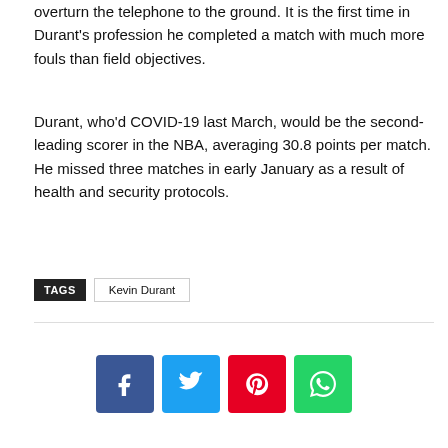overturn the telephone to the ground. It is the first time in Durant's profession he completed a match with much more fouls than field objectives.
Durant, who'd COVID-19 last March, would be the second-leading scorer in the NBA, averaging 30.8 points per match. He missed three matches in early January as a result of health and security protocols.
TAGS  Kevin Durant
[Figure (infographic): Social share buttons: Facebook (blue), Twitter (light blue), Pinterest (red), WhatsApp (green)]